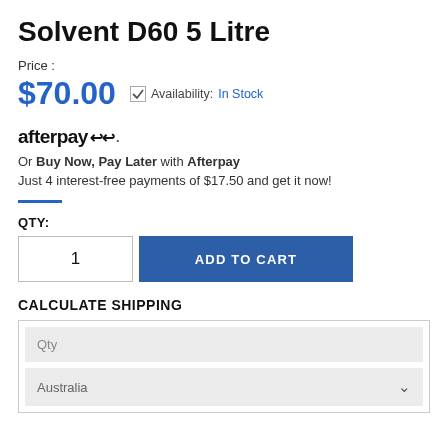Solvent D60 5 Litre
Price : $70.00   Availability: In Stock
[Figure (logo): Afterpay logo with arrows]
Or Buy Now, Pay Later with Afterpay
Just 4 interest-free payments of $17.50 and get it now!
QTY: 1  ADD TO CART
CALCULATE SHIPPING
Qty
Australia